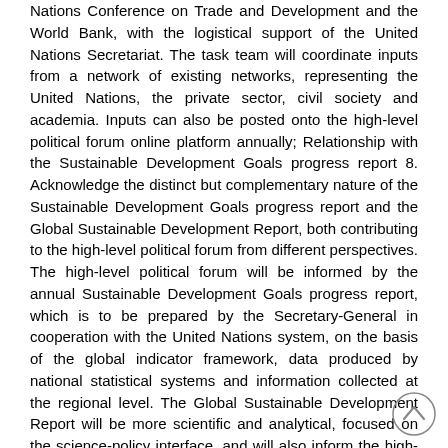Nations Conference on Trade and Development and the World Bank, with the logistical support of the United Nations Secretariat. The task team will coordinate inputs from a network of existing networks, representing the United Nations, the private sector, civil society and academia. Inputs can also be posted onto the high-level political forum online platform annually; Relationship with the Sustainable Development Goals progress report 8. Acknowledge the distinct but complementary nature of the Sustainable Development Goals progress report and the Global Sustainable Development Report, both contributing to the high-level political forum from different perspectives. The high-level political forum will be informed by the annual Sustainable Development Goals progress report, which is to be prepared by the Secretary-General in cooperation with the United Nations system, on the basis of the global indicator framework, data produced by national statistical systems and information collected at the regional level. The Global Sustainable Development Report will be more scientific and analytical, focused on the science-policy interface, and will also inform the high-level political forum. 9/9